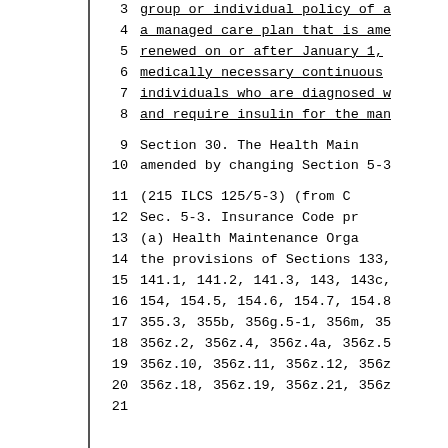3   group or individual policy of a
4   a managed care plan that is ame
5   renewed on or after January 1,
6   medically necessary continuous
7   individuals who are diagnosed w
8   and require insulin for the man
9     Section 30. The Health Main
10  amended by changing Section 5-3
11    (215 ILCS 125/5-3)  (from C
12    Sec. 5-3. Insurance Code pr
13    (a) Health Maintenance Orga
14  the provisions of Sections 133,
15  141.1, 141.2, 141.3, 143, 143c,
16  154, 154.5, 154.6, 154.7, 154.8
17  355.3, 355b, 356g.5-1, 356m, 35
18  356z.2, 356z.4, 356z.4a, 356z.5
19  356z.10, 356z.11, 356z.12, 356z
20  356z.18, 356z.19, 356z.21, 356z
21